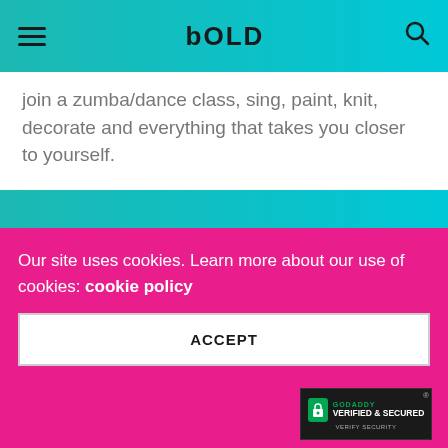BOLD
join a zumba/dance class, sing, paint, knit, decorate and everything that takes you closer to yourself.
Our site uses cookies. Learn more about our use of cookies: cookie policy
ACCEPT